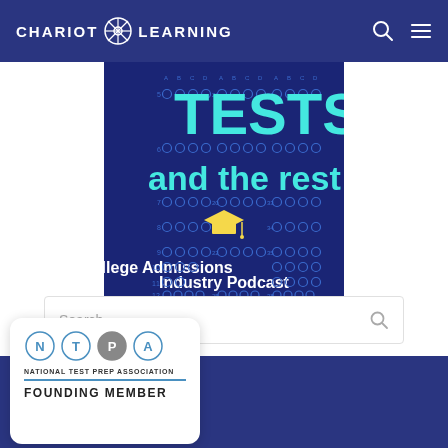CHARIOT LEARNING
[Figure (illustration): Podcast cover art for 'Tests and the rest - The College Admissions Industry Podcast' on a dark blue background with multiple-choice bubble sheet pattern, large cyan text 'TESTS' and 'and the rest', yellow graduation cap icon, and white subtitle text.]
Search ...
[Figure (logo): National Test Prep Association logo with N, T, P, A circles and text 'NATIONAL TEST PREP ASSOCIATION' and 'FOUNDING MEMBER']